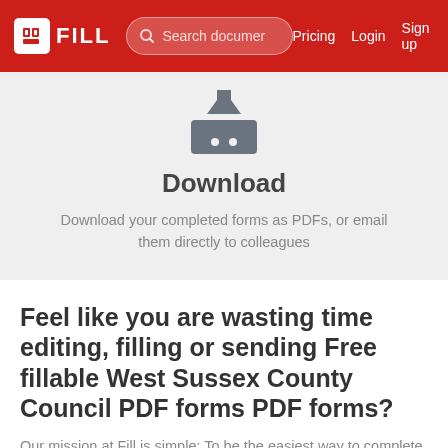FILL | Search documents | Pricing | Login | Sign up
[Figure (illustration): Download icon: inbox tray with two dots]
Download
Download your completed forms as PDFs, or email them directly to colleagues
Feel like you are wasting time editing, filling or sending Free fillable West Sussex County Council PDF forms PDF forms?
Our mission at Fill is simple: To be the easiest way to complete and sign PDF forms for...